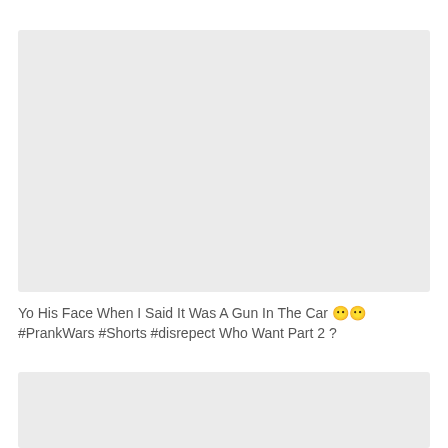[Figure (other): Video thumbnail placeholder — light gray rectangle, top video]
Yo His Face When I Said It Was A Gun In The Car 😶😶 #PrankWars #Shorts #disrepect Who Want Part 2 ?
[Figure (other): Video thumbnail placeholder — light gray rectangle, bottom video (partially visible)]